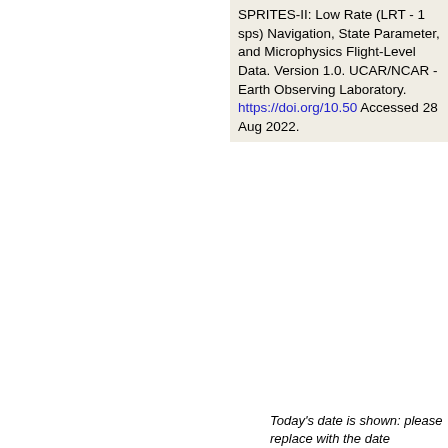SPRITES-II: Low Rate (LRT - 1 sps) Navigation, State Parameter, and Microphysics Flight-Level Data. Version 1.0. UCAR/NCAR - Earth Observing Laboratory. https://doi.org/10.50 Accessed 28 Aug 2022.
Today's date is shown: please replace with the date